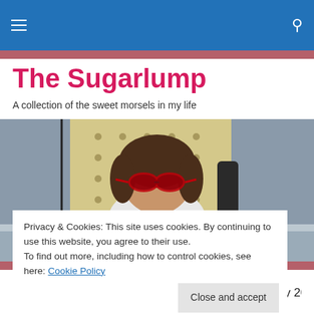The Sugarlump — navigation bar with hamburger menu and search icon
The Sugarlump
A collection of the sweet morsels in my life
[Figure (photo): Vintage photo of a young child wearing large red sunglasses, sitting in a chair with a patterned yellow/beige background. A stuffed toy is visible in front.]
Privacy & Cookies: This site uses cookies. By continuing to use this website, you agree to their use.
To find out more, including how to control cookies, see here: Cookie Policy
On Thanksgiving morning, I got up at 6 AM to get my 20lb